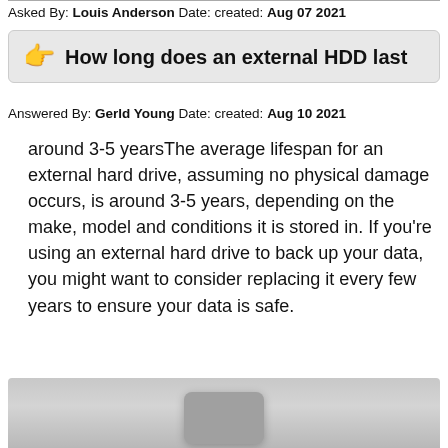Asked By: Louis Anderson Date: created: Aug 07 2021
👉 How long does an external HDD last
Answered By: Gerld Young Date: created: Aug 10 2021
around 3-5 yearsThe average lifespan for an external hard drive, assuming no physical damage occurs, is around 3-5 years, depending on the make, model and conditions it is stored in. If you're using an external hard drive to back up your data, you might want to consider replacing it every few years to ensure your data is safe.
[Figure (photo): Photo of an external hard drive device, partially visible at bottom of page]